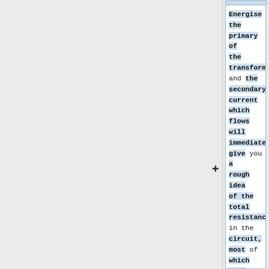Energise the primary of the transformer, and the secondary current which flows will immediately give you a rough idea of the total resistance in the circuit, most of which will be attributable to the